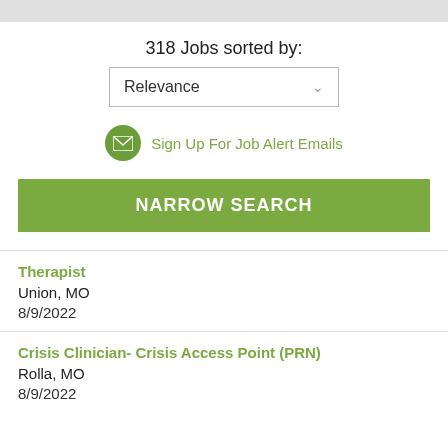318 Jobs sorted by:
Relevance
Sign Up For Job Alert Emails
NARROW SEARCH
Therapist
Union, MO
8/9/2022
Crisis Clinician- Crisis Access Point (PRN)
Rolla, MO
8/9/2022